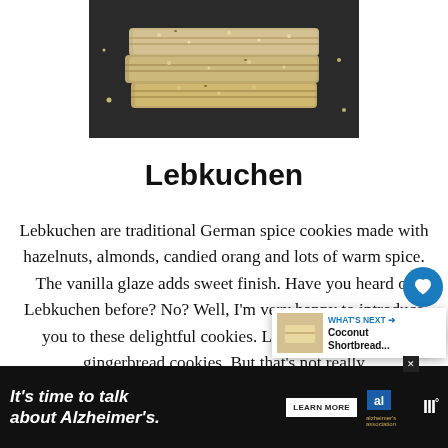[Figure (photo): Stack of Lebkuchen German spice cookies on a dark background]
Lebkuchen
Lebkuchen are traditional German spice cookies made with hazelnuts, almonds, candied orang and lots of warm spice. The vanilla glaze adds sweet finish. Have you heard of Lebkuchen before? No? Well, I'm very happy to introduce you to these delightful cookies. Lebkuche. likened to gingerbread cookies. But that's not really
[Figure (photo): Ad banner: It's time to talk about Alzheimer's. Learn More. Alzheimer's Association logo.]